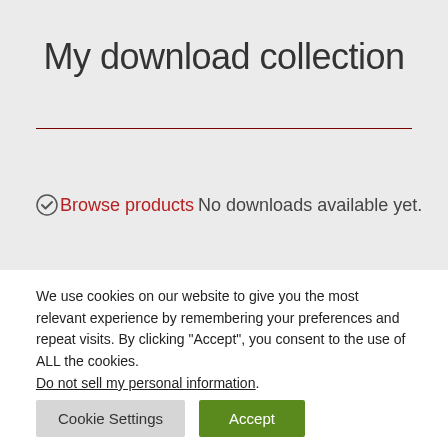My download collection
Browse products No downloads available yet.
We use cookies on our website to give you the most relevant experience by remembering your preferences and repeat visits. By clicking “Accept”, you consent to the use of ALL the cookies.
Do not sell my personal information.
Cookie Settings  Accept